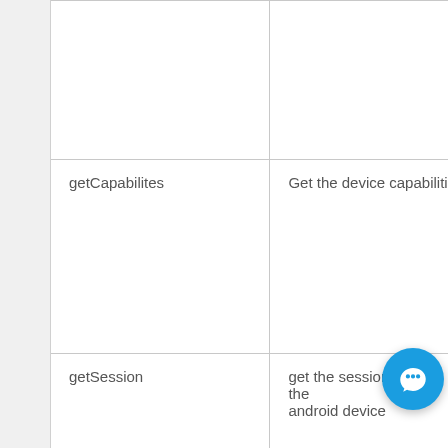|  |  |
| getCapabilites | Get the device capabiliti… |
| getSession | get the session ID of the android device |
| CloseNumber… | Close the device… |